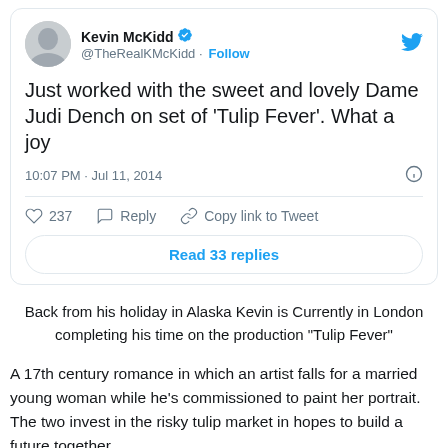[Figure (screenshot): Tweet from Kevin McKidd (@TheRealKMcKidd) with profile photo, verified badge, Follow button, Twitter logo, tweet text, timestamp, like/reply/copy link actions, and Read 33 replies button]
Back from his holiday in Alaska Kevin is Currently in London completing his time on the production "Tulip Fever"
A 17th century romance in which an artist falls for a married young woman while he's commissioned to paint her portrait. The two invest in the risky tulip market in hopes to build a future together.